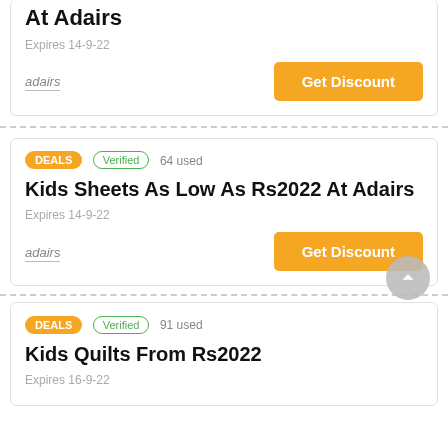At Adairs
Expires 14-9-22
adairs | Get Discount
DEALS  Verified  64 used
Kids Sheets As Low As Rs2022 At Adairs
Expires 14-9-22
adairs | Get Discount
DEALS  Verified  91 used
Kids Quilts From Rs2022
Expires 16-9-22